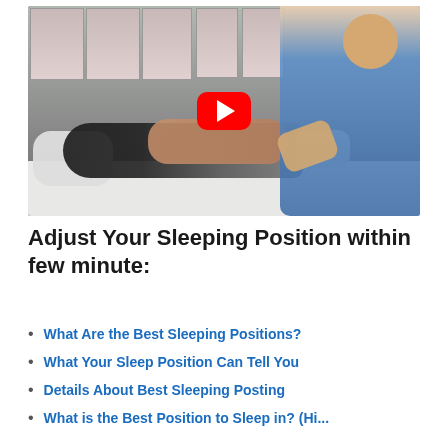[Figure (screenshot): YouTube video thumbnail showing a person lying on a treatment table with a practitioner demonstrating sleeping position adjustment. Anatomy posters visible on the wall in the background. A red YouTube play button is overlaid in the center.]
Adjust Your Sleeping Position within few minute:
What Are the Best Sleeping Positions?
What Your Sleep Position Can Tell You
Details About Best Sleeping Posting
What is the Best Position to Sleep in? (Hints...)